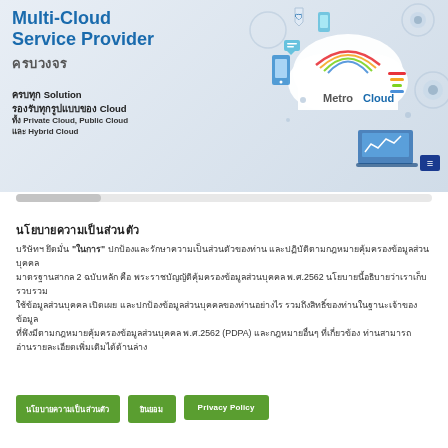[Figure (illustration): Metro Cloud multi-cloud service provider banner with Thai and English text, cloud computing illustration with connected devices and Metro Cloud logo]
นโยบายความเป็นส่วนตัว
บริษัทฯ ยึดมั่น ในการปกป้องและรักษาความเป็นส่วนตัวของท่าน และปฏิบัติตามกฎหมายคุ้มครองข้อมูลส่วนบุคคล 2 ฉบับหลัก คือ พระราชบัญญัติคุ้มครองข้อมูลส่วนบุคคล พ.ศ.2562 นโยบายนี้อธิบายว่าเราเก็บรวบรวม ใช้ เปิดเผย และปกป้องข้อมูลส่วนบุคคลของท่านอย่างไร รวมถึงสิทธิของท่านในฐานะเจ้าของข้อมูลที่พึงมีตามกฎหมาย ท่านสามารถอ่านรายละเอียดได้ที่นี่
นโยบายความเป็นส่วนตัว
ยินยอม
Privacy Policy